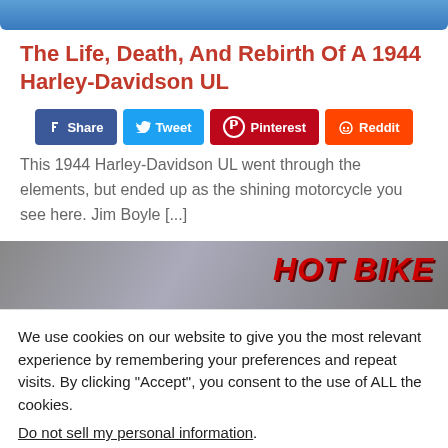[Figure (photo): Top portion of a Harley-Davidson article image, cropped at top]
The Life, Death, And Rebirth Of A 1944 Harley-Davidson UL
Share Tweet Pinterest Reddit social buttons
This 1944 Harley-Davidson UL went through the elements, but ended up as the shining motorcycle you see here. Jim Boyle [...]
[Figure (photo): Partial magazine cover image showing HOT BIKE text in red italic letters on grey background]
We use cookies on our website to give you the most relevant experience by remembering your preferences and repeat visits. By clicking "Accept", you consent to the use of ALL the cookies.
Do not sell my personal information.